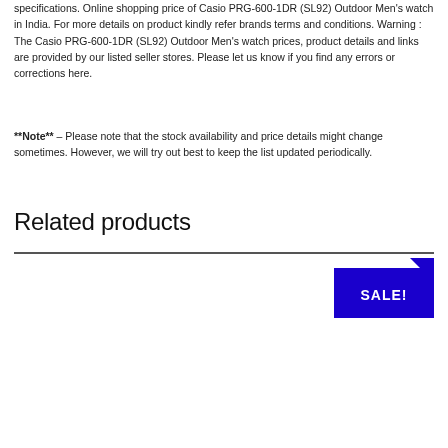specifications. Online shopping price of Casio PRG-600-1DR (SL92) Outdoor Men's watch in India. For more details on product kindly refer brands terms and conditions. Warning : The Casio PRG-600-1DR (SL92) Outdoor Men's watch prices, product details and links are provided by our listed seller stores. Please let us know if you find any errors or corrections here.
**Note** – Please note that the stock availability and price details might change sometimes. However, we will try out best to keep the list updated periodically.
Related products
[Figure (other): SALE! badge/label in blue with a triangular corner decoration]